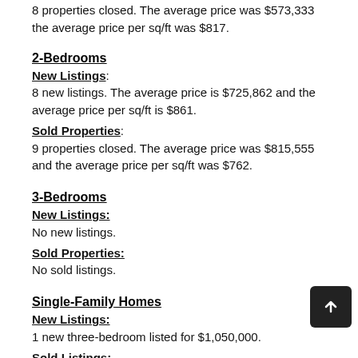8 properties closed. The average price was $573,333 the average price per sq/ft was $817.
2-Bedrooms
New Listings: 8 new listings. The average price is $725,862 and the average price per sq/ft is $861.
Sold Properties: 9 properties closed. The average price was $815,555 and the average price per sq/ft was $762.
3-Bedrooms
New Listings: No new listings.
Sold Properties: No sold listings.
Single-Family Homes
New Listings: 1 new three-bedroom listed for $1,050,000.
Sold Listings: